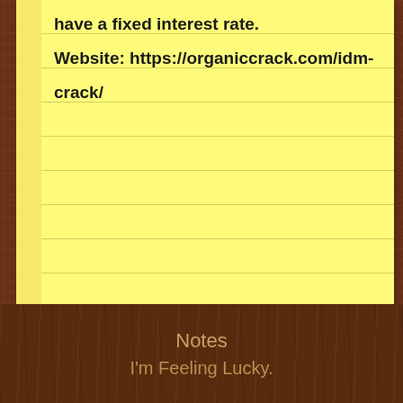have a fixed interest rate.
Website: https://organiccrack.com/idm-crack/
Notes
I'm Feeling Lucky.